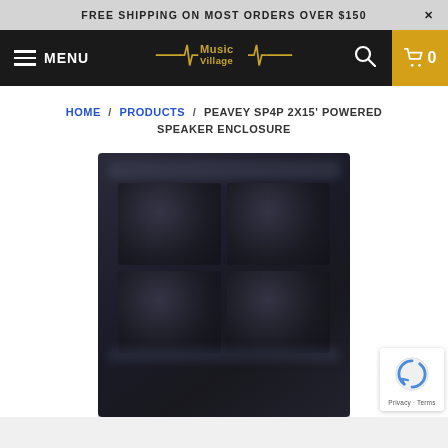FREE SHIPPING ON MOST ORDERS OVER $150
[Figure (screenshot): Music Village website navigation bar with hamburger menu, logo, search icon, and cart button]
HOME / PRODUCTS / PEAVEY SP4P 2X15' POWERED SPEAKER ENCLOSURE
[Figure (photo): Peavey SP4P 2x15 powered speaker enclosure - dark rectangular cabinet with dual woofer drivers, blurred product image]